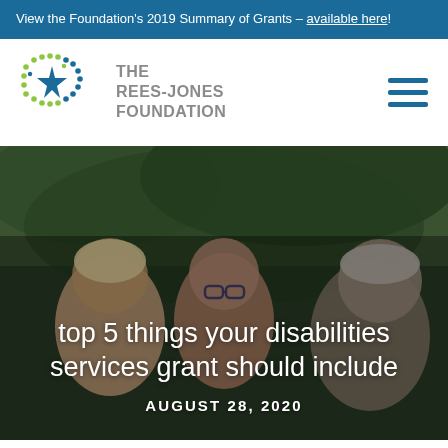View the Foundation's 2019 Summary of Grants – available here!
[Figure (logo): The Rees-Jones Foundation logo with star/dot cluster icon and text 'THE REES-JONES FOUNDATION']
[Figure (photo): A family photo showing a woman, a young person with glasses, and an older man smiling together outdoors with green foliage background]
top 5 things your disabilities services grant should include
AUGUST 28, 2020